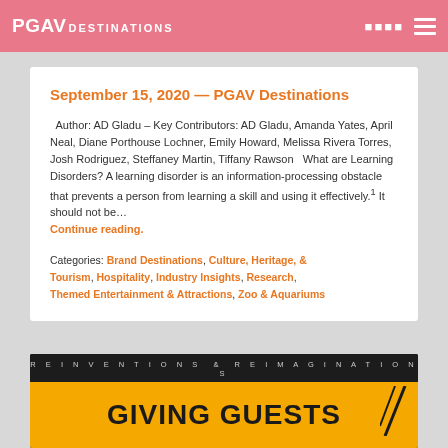PGAV DESTINATIONS
September 15, 2020 — PGAV Destinations
Author: AD Gladu – Key Contributors: AD Gladu, Amanda Yates, April Neal, Diane Porthouse Lochner, Emily Howard, Melissa Rivera Torres, Josh Rodriguez, Steffaney Martin, Tiffany Rawson   What are Learning Disorders? A learning disorder is an information-processing obstacle that prevents a person from learning a skill and using it effectively.¹ It should not be… Continue reading.
Categories: Brand Destinations, Culture, Heritage, & Tourism, Hospitality, Industry Insights, Research, Themed Entertainment & Attractions, Zoo & Aquariums
[Figure (illustration): Dark background banner with text 'REINVENTIONS & REIMAGINATIONS' and yellow area showing 'GIVING GUESTS' in large bold text]